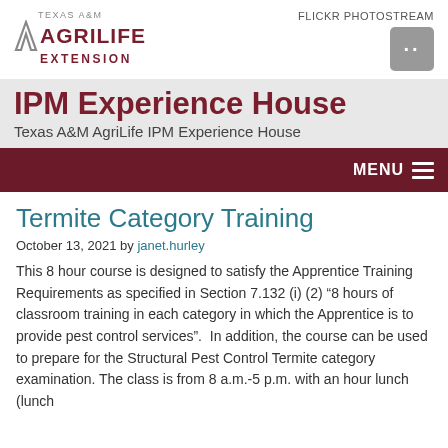[Figure (logo): Texas A&M AgriLife Extension logo with stylized A mark and maroon text]
FLICKR PHOTOSTREAM
IPM Experience House
Texas A&M AgriLife IPM Experience House
MENU
Termite Category Training
October 13, 2021 by janet.hurley
This 8 hour course is designed to satisfy the Apprentice Training Requirements as specified in Section 7.132 (i) (2) “8 hours of classroom training in each category in which the Apprentice is to provide pest control services”.  In addition, the course can be used to prepare for the Structural Pest Control Termite category examination. The class is from 8 a.m.-5 p.m. with an hour lunch (lunch